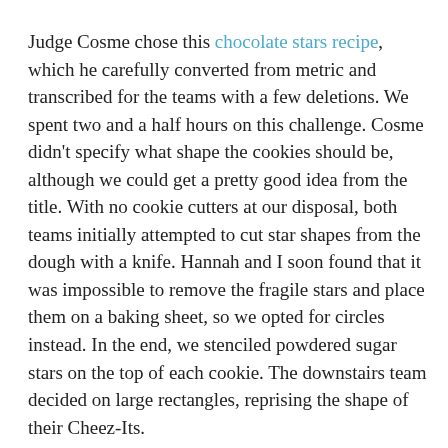Judge Cosme chose this chocolate stars recipe, which he carefully converted from metric and transcribed for the teams with a few deletions. We spent two and a half hours on this challenge. Cosme didn't specify what shape the cookies should be, although we could get a pretty good idea from the title. With no cookie cutters at our disposal, both teams initially attempted to cut star shapes from the dough with a knife. Hannah and I soon found that it was impossible to remove the fragile stars and place them on a baking sheet, so we opted for circles instead. In the end, we stenciled powdered sugar stars on the top of each cookie. The downstairs team decided on large rectangles, reprising the shape of their Cheez-Its.
After four and a half hours of baking, sluggishness was setting in. The upstairs team's cookies were a bit too soft and the basement team's ganache was slightly gritty and bitter,